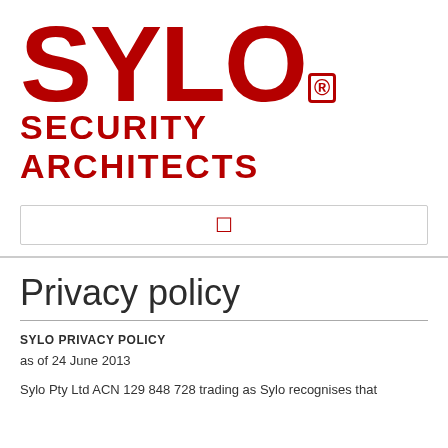[Figure (logo): SYLO Security Architects logo with large bold red text SYLO and registered trademark symbol, with SECURITY ARCHITECTS in red below]
Privacy policy
SYLO PRIVACY POLICY
as of 24 June 2013
Sylo Pty Ltd ACN 129 848 728 trading as Sylo recognises that privacy is important to it and it is committed to complying with